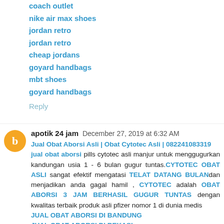coach outlet
nike air max shoes
jordan retro
jordan retro
cheap jordans
goyard handbags
mbt shoes
goyard handbags
Reply
apotik 24 jam  December 27, 2019 at 6:32 AM
Jual Obat Aborsi Asli | Obat Cytotec Asli | 082241083319 jual obat aborsi pills cytotec asli manjur untuk menggugurkan kandungan usia 1 - 6 bulan gugur tuntas.CYTOTEC OBAT ASLI sangat efektif mengatasi TELAT DATANG BULANdan menjadikan anda gagal hamil , CYTOTEC adalah OBAT ABORSI 3 JAM BERHASIL GUGUR TUNTAS dengan kwalitas terbaik produk asli pfizer nomor 1 di dunia medis
JUAL OBAT ABORSI DI BANDUNG
JUAL OBAT ABORSI DI BEKASI